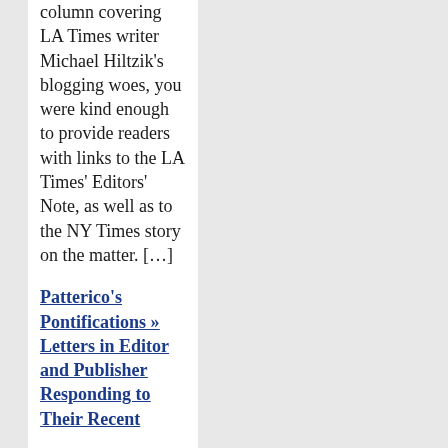column covering LA Times writer Michael Hiltzik's blogging woes, you were kind enough to provide readers with links to the LA Times' Editors' Note, as well as to the NY Times story on the matter. […]
Patterico's Pontifications » Letters in Editor and Publisher Responding to Their Recent